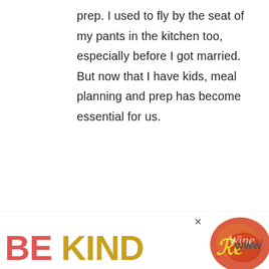prep. I used to fly by the seat of my pants in the kitchen too, especially before I got married. But now that I have kids, meal planning and prep has become essential for us.
Reply
Mary Kate says
January 22, 2015 at 12:42 pm
This is completely off topic but I was
[Figure (other): Advertisement banner at bottom: BE KIND text in large bold letters (BE in red, KIND in yellow), with decorative script logo, close button X, and small logo mark at right]